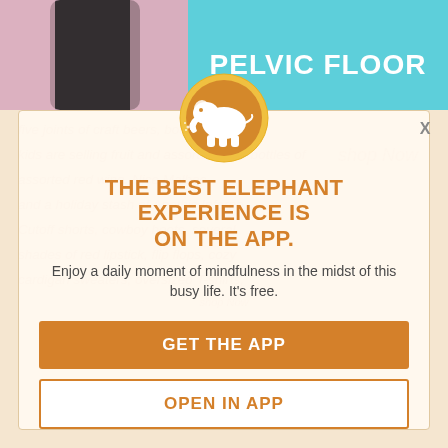[Figure (screenshot): Top banner with photo of person in black clothing on left, and cyan/teal background with 'PELVIC FLOOR' text on right]
X
[Figure (logo): Orange circular logo with white elephant silhouette]
THE BEST ELEPHANT EXPERIENCE IS ON THE APP.
Enjoy a daily moment of mindfulness in the midst of this busy life. It's free.
GET THE APP
OPEN IN APP